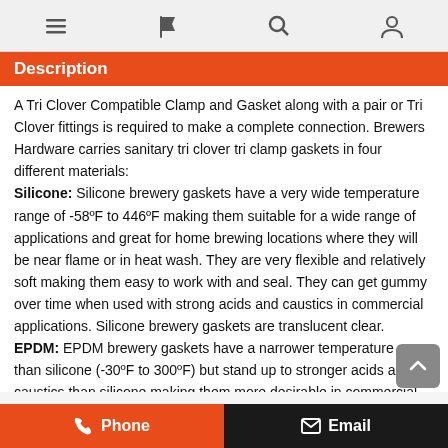Navigation bar with menu, flag, search, and account icons
Description
A Tri Clover Compatible Clamp and Gasket along with a pair or Tri Clover fittings is required to make a complete connection. Brewers Hardware carries sanitary tri clover tri clamp gaskets in four different materials: Silicone: Silicone brewery gaskets have a very wide temperature range of -58ºF to 446ºF making them suitable for a wide range of applications and great for home brewing locations where they will be near flame or in heat wash. They are very flexible and relatively soft making them easy to work with and seal. They can get gummy over time when used with strong acids and caustics in commercial applications. Silicone brewery gaskets are translucent clear. EPDM: EPDM brewery gaskets have a narrower temperature range than silicone (-30ºF to 300ºF) but stand up to stronger acids and caustics than silicone making them more desirable in commercial applications and excellent for home brewery applications. EPDM brewery gaskets are relatively soft and easy to seal and probably the best all around choice for any application that doesn't
Phone | Email